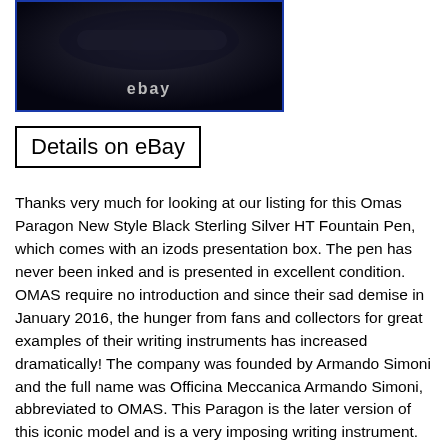[Figure (photo): Dark product photo of a fountain pen on a dark background with 'ebay' text watermark at the bottom center, blue border frame]
Details on eBay
Thanks very much for looking at our listing for this Omas Paragon New Style Black Sterling Silver HT Fountain Pen, which comes with an izods presentation box. The pen has never been inked and is presented in excellent condition. OMAS require no introduction and since their sad demise in January 2016, the hunger from fans and collectors for great examples of their writing instruments has increased dramatically! The company was founded by Armando Simoni and the full name was Officina Meccanica Armando Simoni, abbreviated to OMAS. This Paragon is the later version of this iconic model and is a very imposing writing instrument. The black cotton resin cap and barrel, works perfectly with the sterling silver section and HT trim. The pen is fitted with an 18k fine nib and it's a piston filler, so your choice here is bottled ink. The important details are as follows.. As the Financial Times said